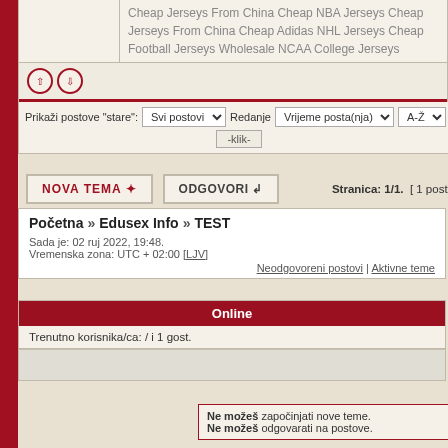Cheap Jerseys From China Cheap NBA Jerseys Cheap Jerseys From China Cheap Adidas NHL Jerseys Cheap Football Jerseys Wholesale NCAA College Jerseys
Prikaži postove "stare": Svi postovi | Redanje Vrijeme posta(nja) | A-Ž | -klik-
NOVA TEMA  ODGOVORI   Stranica: 1/1. [ 1 post ]
Početna » Edusex Info » TEST
Sada je: 02 ruj 2022, 19:48.
Vremenska zona: UTC + 02:00 [LJV]
Neodgovoreni postovi | Aktivne teme
Online
Trenutno korisnika/ca: / i 1 gost.
Ne možeš započinjati nove teme.
Ne možeš odgovarati na postove.